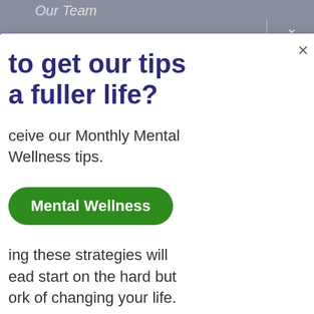[Figure (screenshot): Website screenshot showing a dark navy navigation/content area on the right side with a grey header bar at the top. White horizontal and vertical divider lines visible. Hamburger menu lines, chevron icons, and three dots visible in the grey header. A modal popup overlay appears on the left side with a white background.]
to get our tips a fuller life?
ceive our Monthly Mental Wellness tips.
Mental Wellness
ing these strategies will ead start on the hard but ork of changing your life.